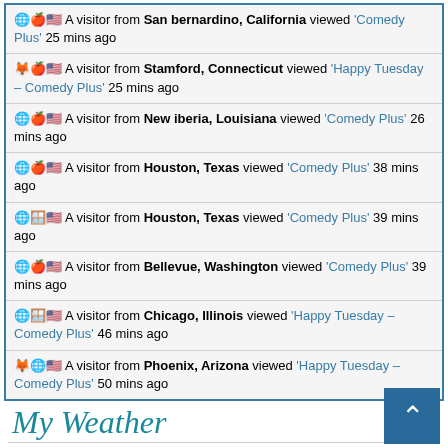A visitor from San bernardino, California viewed 'Comedy Plus' 25 mins ago
A visitor from Stamford, Connecticut viewed 'Happy Tuesday – Comedy Plus' 25 mins ago
A visitor from New iberia, Louisiana viewed 'Comedy Plus' 26 mins ago
A visitor from Houston, Texas viewed 'Comedy Plus' 38 mins ago
A visitor from Houston, Texas viewed 'Comedy Plus' 39 mins ago
A visitor from Bellevue, Washington viewed 'Comedy Plus' 39 mins ago
A visitor from Chicago, Illinois viewed 'Happy Tuesday – Comedy Plus' 46 mins ago
A visitor from Phoenix, Arizona viewed 'Happy Tuesday – Comedy Plus' 50 mins ago
My Weather
[Figure (screenshot): Weather widget showing location Hughson, CA with tabs for Weather, Rain, Sun and a blue bar showing 93.2°F and N Wind]